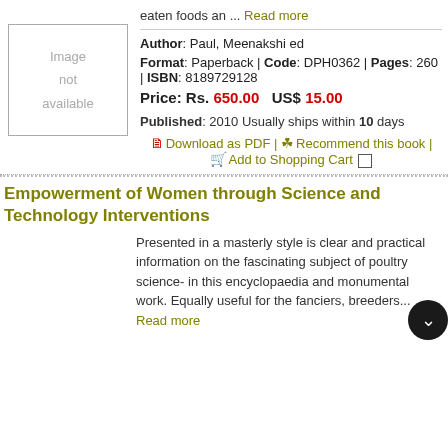eaten foods an ... Read more
[Figure (other): Image not available placeholder box]
Author: Paul, Meenakshi ed
Format: Paperback | Code: DPH0362 | Pages: 260 | ISBN: 8189729128
Price: Rs. 650.00   US$ 15.00
Published: 2010 Usually ships within 10 days
Download as PDF | Recommend this book | Add to Shopping Cart
Empowerment of Women through Science and Technology Interventions
Presented in a masterly style is clear and practical information on the fascinating subject of poultry science- in this encyclopaedia and monumental work. Equally useful for the fanciers, breeders ... Read more